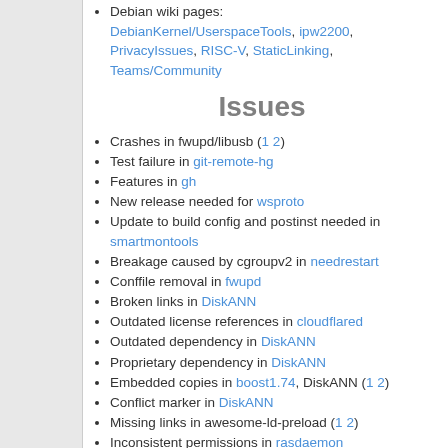Debian wiki pages: DebianKernel/UserspaceTools, ipw2200, PrivacyIssues, RISC-V, StaticLinking, Teams/Community
Issues
Crashes in fwupd/libusb (1 2)
Test failure in git-remote-hg
Features in gh
New release needed for wsproto
Update to build config and postinst needed in smartmontools
Breakage caused by cgroupv2 in needrestart
Conffile removal in fwupd
Broken links in DiskANN
Outdated license references in cloudflared
Outdated dependency in DiskANN
Proprietary dependency in DiskANN
Embedded copies in boost1.74, DiskANN (1 2)
Conflict marker in DiskANN
Missing links in awesome-ld-preload (1 2)
Inconsistent permissions in rasdaemon
Source code in binary packages for gensim